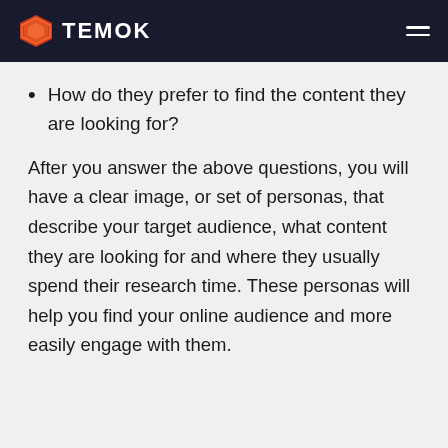TEMOK
How do they prefer to find the content they are looking for?
After you answer the above questions, you will have a clear image, or set of personas, that describe your target audience, what content they are looking for and where they usually spend their research time. These personas will help you find your online audience and more easily engage with them.